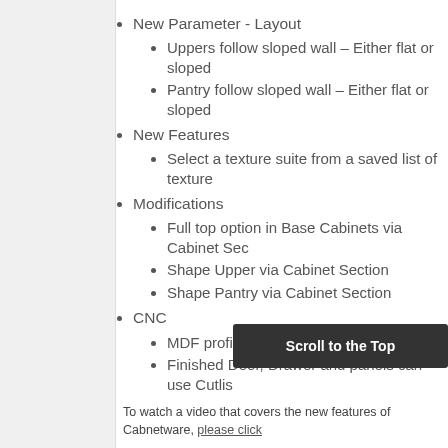New Parameter - Layout
Uppers follow sloped wall – Either flat or sloped
Pantry follow sloped wall – Either flat or sloped
New Features
Select a texture suite from a saved list of texture
Modifications
Full top option in Base Cabinets via Cabinet Section
Shape Upper via Cabinet Section
Shape Pantry via Cabinet Section
CNC
MDF profile poly grooves can be edited
Finished Door, Drawer and panels can use Cutlist
To watch a video that covers the new features of Cabnetware, please click
This new release was announced on 20th October in the US. Since this and its release in Australia and New Zealand and course . If you are unsure if you have current Planit Customer Care and the contact your local Planit Representative (Click here to find) or our Customer